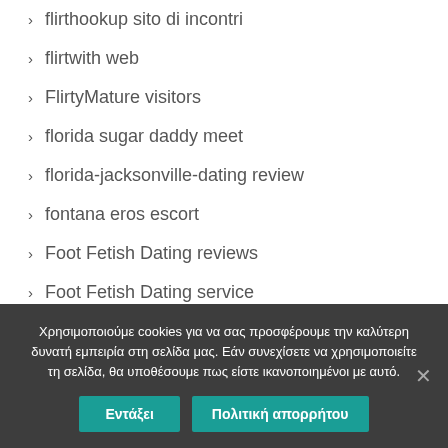flirthookup sito di incontri
flirtwith web
FlirtyMature visitors
florida sugar daddy meet
florida-jacksonville-dating review
fontana eros escort
Foot Fetish Dating reviews
Foot Fetish Dating service
Χρησιμοποιούμε cookies για να σας προσφέρουμε την καλύτερη δυνατή εμπειρία στη σελίδα μας. Εάν συνεχίσετε να χρησιμοποιείτε τη σελίδα, θα υποθέσουμε πως είστε ικανοποιημένοι με αυτό.
Εντάξει | Πολιτική απορρήτου